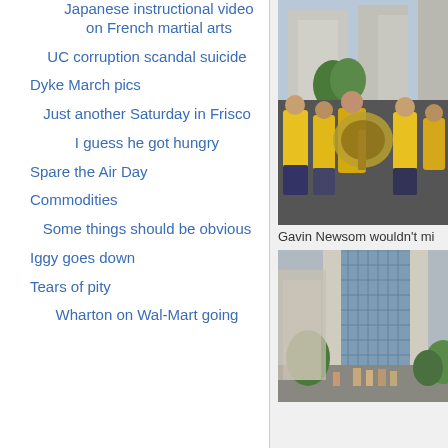Japanese instructional video on French martial arts
UC corruption scandal suicide
Dyke March pics
Just another Saturday in Frisco
I guess he got hungry
Spare the Air Day
Commodities
Some things should be obvious
Iggy goes down
Tears of pity
Wharton on Wal-Mart going
[Figure (photo): Parade scene with people in yellow shirts playing brass instruments including a tuba, street scene with buildings in background]
Gavin Newsom wouldn't mi
[Figure (photo): Outdoor public space with classical columns, people gathered around trees near a building]